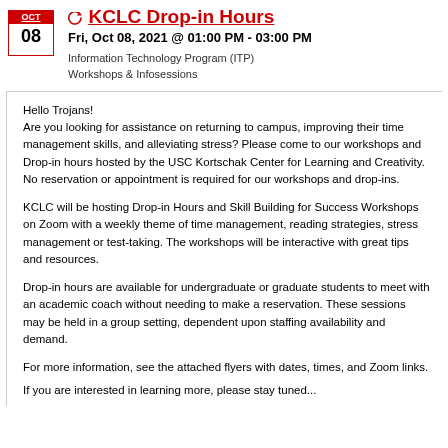KCLC Drop-in Hours
Fri, Oct 08, 2021 @ 01:00 PM - 03:00 PM
Information Technology Program (ITP)
Workshops & Infosessions
Hello Trojans!
Are you looking for assistance on returning to campus, improving their time management skills, and alleviating stress? Please come to our workshops and Drop-in hours hosted by the USC Kortschak Center for Learning and Creativity. No reservation or appointment is required for our workshops and drop-ins.
KCLC will be hosting Drop-in Hours and Skill Building for Success Workshops on Zoom with a weekly theme of time management, reading strategies, stress management or test-taking. The workshops will be interactive with great tips and resources.
Drop-in hours are available for undergraduate or graduate students to meet with an academic coach without needing to make a reservation. These sessions may be held in a group setting, dependent upon staffing availability and demand.
For more information, see the attached flyers with dates, times, and Zoom links.
If you are interested in learning more, please stay tuned...